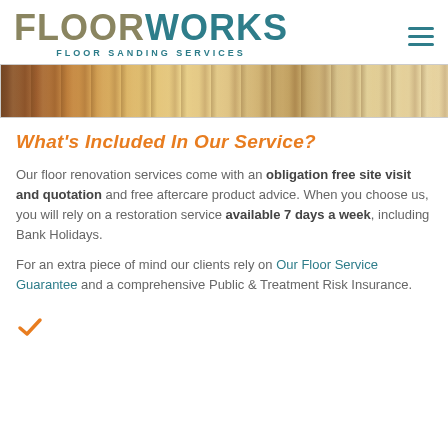FLOORWORKS FLOOR SANDING SERVICES
[Figure (photo): Partial view of wood flooring showing different stained planks, some dark brown and some light natural wood color]
What's Included In Our Service?
Our floor renovation services come with an obligation free site visit and quotation and free aftercare product advice. When you choose us, you will rely on a restoration service available 7 days a week, including Bank Holidays.
For an extra piece of mind our clients rely on Our Floor Service Guarantee and a comprehensive Public & Treatment Risk Insurance.